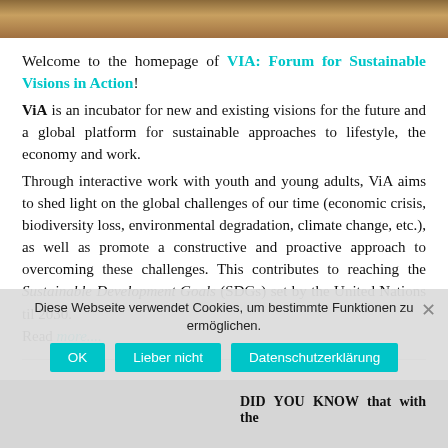[Figure (photo): Header image strip showing a nature/landscape scene in warm tones]
Welcome to the homepage of VIA: Forum for Sustainable Visions in Action!
ViA is an incubator for new and existing visions for the future and a global platform for sustainable approaches to lifestyle, the economy and work.
Through interactive work with youth and young adults, ViA aims to shed light on the global challenges of our time (economic crisis, biodiversity loss, environmental degradation, climate change, etc.), as well as promote a constructive and proactive approach to overcoming these challenges. This contributes to reaching the Sustainable Development Goals (SDGs) set by the United Nations til 2030. Read more....
Diese Webseite verwendet Cookies, um bestimmte Funktionen zu ermöglichen.
DID YOU KNOW that with the